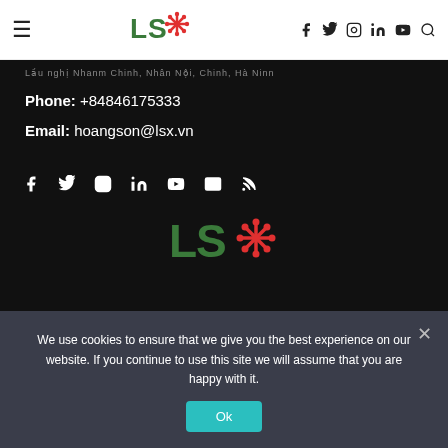LSX Law Firm - Header navigation with logo and social icons
Address: [partial/blurred address text]
Phone: +84846175333
Email: hoangson@lsx.vn
[Figure (logo): Social media icons row: Facebook, Twitter, Instagram, LinkedIn, YouTube, Email/Envelope, RSS feed]
[Figure (logo): LSX Law Firm logo - green L, S and red asterisk/snowflake icon, bottom center]
We use cookies to ensure that we give you the best experience on our website. If you continue to use this site we will assume that you are happy with it.